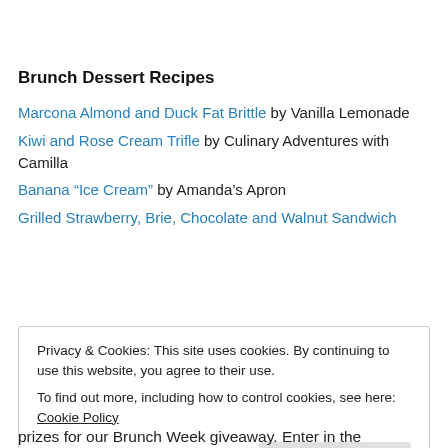Brunch Dessert Recipes
Marcona Almond and Duck Fat Brittle by Vanilla Lemonade
Kiwi and Rose Cream Trifle by Culinary Adventures with Camilla
Banana “Ice Cream” by Amanda’s Apron
Grilled Strawberry, Brie, Chocolate and Walnut Sandwich
Privacy & Cookies: This site uses cookies. By continuing to use this website, you agree to their use. To find out more, including how to control cookies, see here: Cookie Policy
prizes for our Brunch Week giveaway. Enter in the